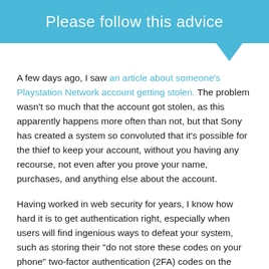Please follow this advice
A few days ago, I saw an article about someone's Playstation Network account getting stolen. The problem wasn't so much that the account got stolen, as this apparently happens more often than not, but that Sony has created a system so convoluted that it's possible for the thief to keep your account, without you having any recourse, not even after you prove your name, purchases, and anything else about the account.
Having worked in web security for years, I know how hard it is to get authentication right, especially when users will find ingenious ways to defeat your system, such as storing their “do not store these codes on your phone” two-factor authentication (2FA) codes on the phone and then throwing the phone in the ocean. Another user surprised me when, instead of properly setting up their authenticator app, they